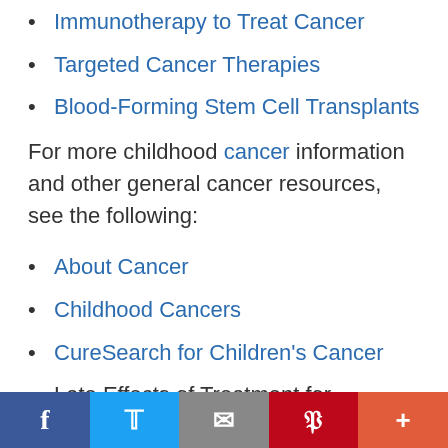Immunotherapy to Treat Cancer
Targeted Cancer Therapies
Blood-Forming Stem Cell Transplants
For more childhood cancer information and other general cancer resources, see the following:
About Cancer
Childhood Cancers
CureSearch for Children's Cancer
Late Effects of Treatment for Childhood Cancer
Adolescents and Young Adults with Cancer